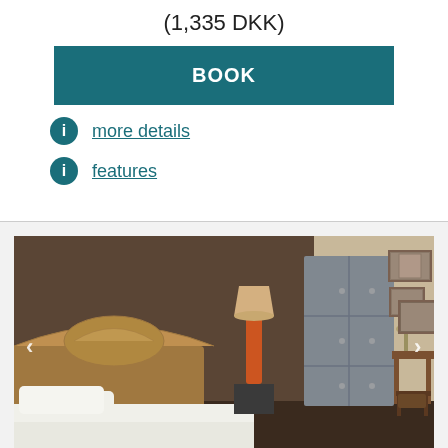(1,335 DKK)
BOOK
more details
features
[Figure (photo): Hotel room with a bed with white linens, wooden headboard, orange lamp, metal lockers/wardrobe, wooden desk with lamp, and framed pictures on the wall. Navigation arrows on left and right sides.]